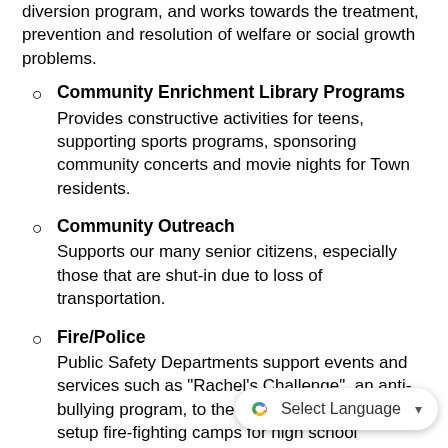diversion program, and works towards the treatment, prevention and resolution of welfare or social growth problems.
Community Enrichment Library Programs
Provides constructive activities for teens, supporting sports programs, sponsoring community concerts and movie nights for Town residents.
Community Outreach
Supports our many senior citizens, especially those that are shut-in due to loss of transportation.
Fire/Police
Public Safety Departments support events and services such as "Rachel's Challenge", an anti-bullying program, to the middle and high school, setup fire-fighting camps for high school